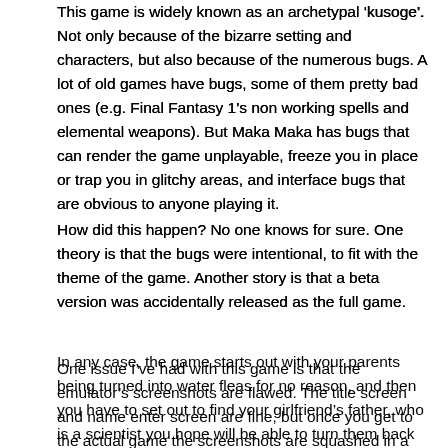This game is widely known as an archetypal 'kusoge'. Not only because of the bizarre setting and characters, but also because of the numerous bugs. A lot of old games have bugs, some of them pretty bad ones (e.g. Final Fantasy 1's non working spells and elemental weapons). But Maka Maka has bugs that can render the game unplayable, freeze you in place or trap you in glitchy areas, and interface bugs that are obvious to anyone playing it.
How did this happen? No one knows for sure. One theory is that the bugs were intentional, to fit with the theme of the game. Another story is that a beta version was accidentally released as the full game.
In any case, the game starts out with your parents being turned into water fleas for no reason, and then you have to set out to find your girlfriend's father, who is a scientist you hope will be able to turn them back to normal. I gave the main character and girlfriend silly names to go along with the theme (Goppoyon and Bayoppi♥).
One issue I've had with this game is that the emulator's screenshots are flawed. The title screen and name enter screen are fine, but once you get to the actual game the screenshots are squashed in a